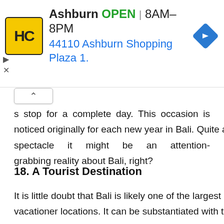[Figure (screenshot): Advertisement banner for Haircut chain at Ashburn location. Shows HC logo in yellow box, 'Ashburn OPEN 8AM–8PM' and '44110 Ashburn Shopping Plaza 1.' text in blue, with blue diamond navigation icon. Collapse arrows and X button visible on left.]
s stop for a complete day. This occasion is noticed originally for each new year in Bali. Quite a spectacle it might be an attention-grabbing reality about Bali, right?
18. A Tourist Destination
It is little doubt that Bali is likely one of the largest vacationer locations. It can be substantiated with the truth that 80% of the total earnings of Bali come from tourism. They are extremely dependent on earnings from tourism, which could additionally